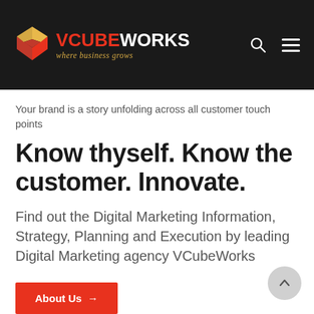[Figure (logo): VCubeWorks logo with a red and gold heart/cube icon, text 'VCUBEWORKS' in red and white, tagline 'where business grows' in gold italic]
Your brand is a story unfolding across all customer touch points
Know thyself. Know the customer. Innovate.
Find out the Digital Marketing Information, Strategy, Planning and Execution by leading Digital Marketing agency VCubeWorks
About Us →